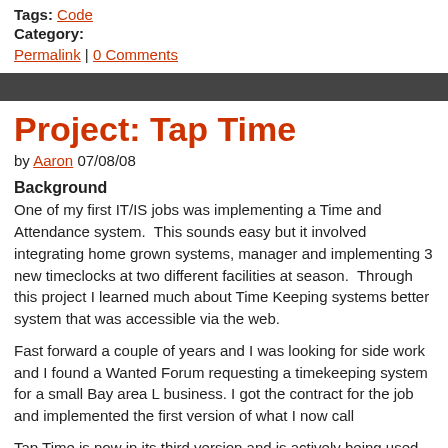Tags: Code
Category:
Permalink | 0 Comments
Project: Tap Time
by Aaron 07/08/08
Background
One of my first IT/IS jobs was implementing a Time and Attendance system.  This sounds easy but it involved integrating home grown systems, replacing a manager and implementing 3 new timeclocks at two different facilities and all during tax season.  Through this project I learned much about Time Keeping systems and wanted a better system that was accessible via the web.
Fast forward a couple of years and I was looking for side work and I found a post on a Wanted Forum requesting a timekeeping system for a small Bay area business.  I got the contract for the job and implemented the first version of what I now call Tap Time.
Tap Time is now in its third version and is actively being used by a Local Bay Area Based government agency and other local businesses.  The program has project management/budgeting features that are key for Government work.  It includes payroll export features and numerous management reports.
Purpose